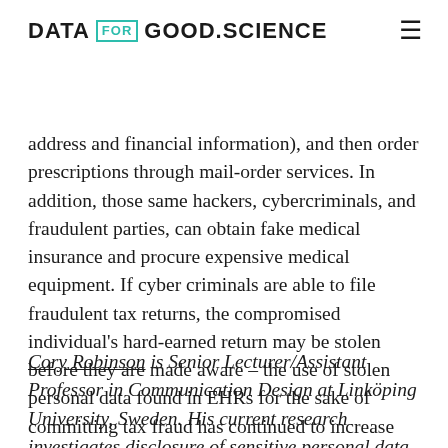DATA FOR GOOD.SCIENCE
address and financial information), and then order prescriptions through mail-order services. In addition, those same hackers, cybercriminals, and fraudulent parties, can obtain fake medical insurance and procure expensive medical equipment. If cyber criminals are able to file fraudulent tax returns, the compromised individual's hard-earned return may be stolen before they are made aware – the use of stolen personal data found in EHRs for the sake of committing tax fraud has continued to increase (35).
Cory Robinson is Senior Lecturer/Assistant Professor in Communication Design at Linköping University, Sweden. His current research investigates disclosure of sensitive personal data, including biometric and health data, in Internet platforms and surveillance technologies, and